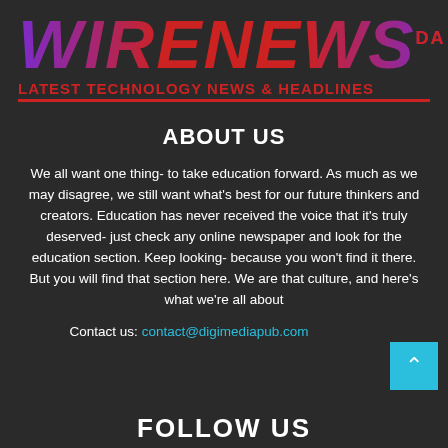[Figure (logo): WireNews logo with gradient purple-to-red italic bold text and tagline 'LATEST TECHNOLOGY NEWS & HEADLINES']
ABOUT US
We all want one thing- to take education forward. As much as we may disagree, we still want what's best for our future thinkers and creators. Education has never received the voice that it's truly deserved- just check any online newspaper and look for the education section. Keep looking- because you won't find it there. But you will find that section here. We are that culture, and here's what we're all about
Contact us: contact@digimediapub.com
FOLLOW US